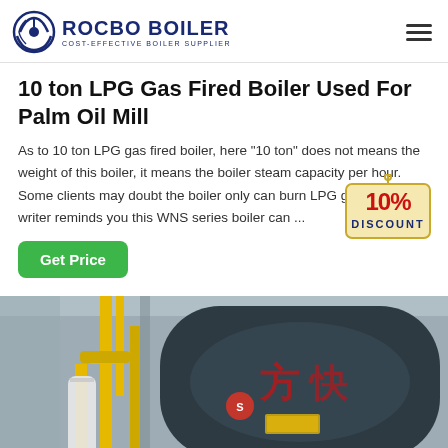ROCBO BOILER - COST-EFFECTIVE BOILER SUPPLIER
10 ton LPG Gas Fired Boiler Used For Palm Oil Mill
As to 10 ton LPG gas fired boiler, here "10 ton" does not means the weight of this boiler, it means the boiler steam capacity per hour. Some clients may doubt the boiler only can burn LPG ga... the writer reminds you this WNS series boiler can ...
[Figure (infographic): 10% DISCOUNT badge/label graphic overlapping the text]
[Figure (photo): Industrial gas fired boiler with yellow piping and Chinese text markings, installed in a factory setting]